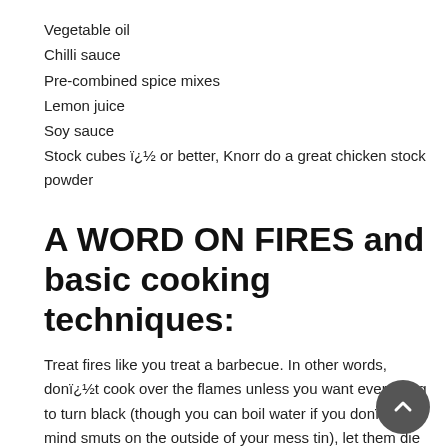Vegetable oil
Chilli sauce
Pre-combined spice mixes
Lemon juice
Soy sauce
Stock cubes ï¿½ or better, Knorr do a great chicken stock powder
A WORD ON FIRES and basic cooking techniques:
Treat fires like you treat a barbecue. In other words, donï¿½t cook over the flames unless you want everything to turn black (though you can boil water if you donï¿½t mind smuts on the outside of your mess tin), let them die down and cook on the embers.
Boiling water: use your largest mess tin (the greater the surface area the faster the boil), use only the water